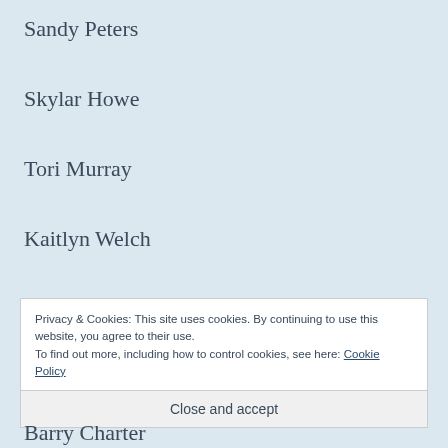Sandy Peters
Skylar Howe
Tori Murray
Kaitlyn Welch
Leslie Wright
Privacy & Cookies: This site uses cookies. By continuing to use this website, you agree to their use.
To find out more, including how to control cookies, see here: Cookie Policy
Close and accept
Barry Charter